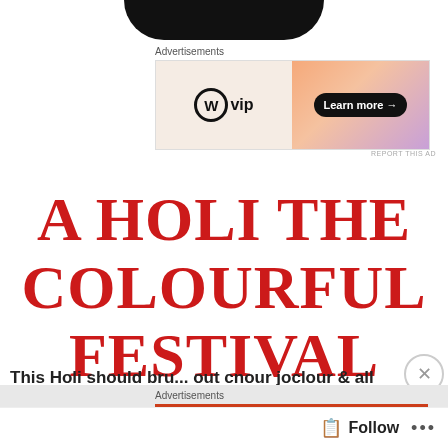[Figure (illustration): Black rounded arc shape at top of page, partial view of a circular profile picture or logo]
Advertisements
[Figure (screenshot): WordPress VIP advertisement banner with orange gradient background and 'Learn more →' button]
REPORT THIS AD
A HOLI THE COLOURFUL FESTIVAL
This Holi should bru... out... joclour & all
Advertisements
[Figure (screenshot): DuckDuckGo advertisement with orange background: 'Search, browse, and email with more privacy.' with phone mockup showing DuckDuckGo app]
Follow ...